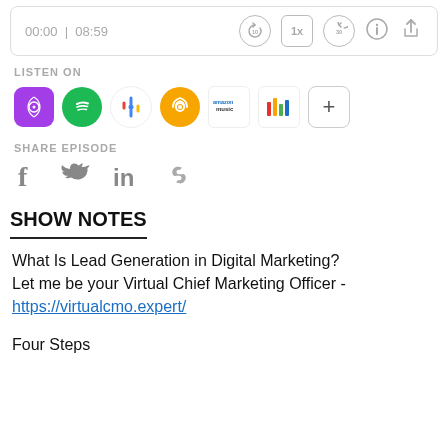[Figure (screenshot): Podcast player bar showing time 00:00 | 08:59 and playback controls: rewind 10s, 1x speed, forward 30s, info icon, share icon]
LISTEN ON
[Figure (infographic): Row of podcast platform icons: Apple Podcasts (purple), Spotify (green), Google Podcasts (colorful dots), Overcast (orange), Amazon Music, iHeartRadio (colorful bars), and a plus button]
SHARE EPISODE
[Figure (infographic): Social share icons: Facebook (f), Twitter (bird), LinkedIn (in), and a link/chain icon]
SHOW NOTES
What Is Lead Generation in Digital Marketing?
Let me be your Virtual Chief Marketing Officer - https://virtualcmo.expert/
Four Steps